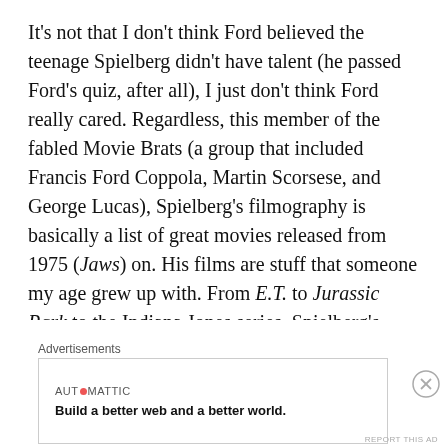It's not that I don't think Ford believed the teenage Spielberg didn't have talent (he passed Ford's quiz, after all), I just don't think Ford really cared. Regardless, this member of the fabled Movie Brats (a group that included Francis Ford Coppola, Martin Scorsese, and George Lucas), Spielberg's filmography is basically a list of great movies released from 1975 (Jaws) on. His films are stuff that someone my age grew up with. From E.T. to Jurassic Park to the Indiana Jones series, Spielberg's films are created since a since of
Advertisements
[Figure (other): Automattic advertisement banner: 'Build a better web and a better world.' with Automattic logo/brand name]